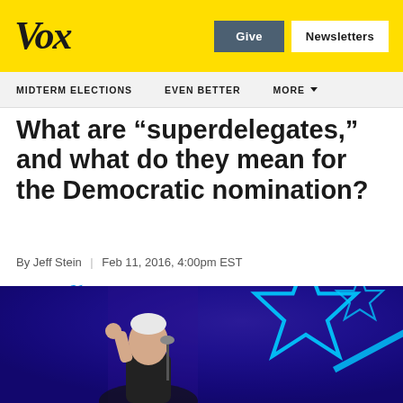Vox | Give | Newsletters
MIDTERM ELECTIONS | EVEN BETTER | MORE
What are “superdelegates,” and what do they mean for the Democratic nomination?
By Jeff Stein | Feb 11, 2016, 4:00pm EST
[Figure (photo): Photo of a person (Bernie Sanders) at a Democratic debate stage with blue star decorations in the background]